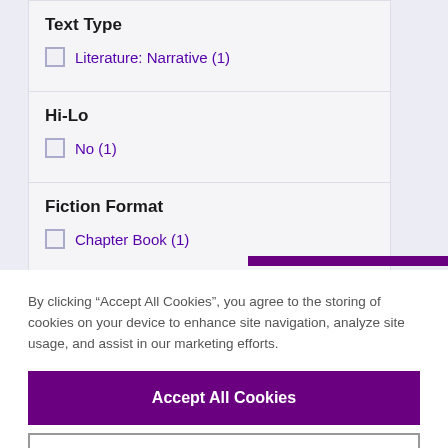Text Type
Literature: Narrative (1)
Hi-Lo
No (1)
Fiction Format
Chapter Book (1)
By clicking “Accept All Cookies”, you agree to the storing of cookies on your device to enhance site navigation, analyze site usage, and assist in our marketing efforts.
Accept All Cookies
Cookies Settings